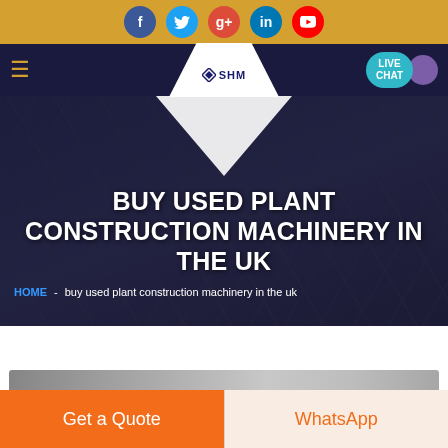[Figure (screenshot): Social media icons bar with Facebook, Twitter, Google+, LinkedIn, YouTube icons on golden/amber background]
[Figure (screenshot): Navigation bar with hamburger menu, SHM logo in white panel with diamond icon, and LIVE CHAT button on dark navy background]
BUY USED PLANT CONSTRUCTION MACHINERY IN THE UK
HOME  -  buy used plant construction machinery in the uk
[Figure (photo): Background hero image showing construction/engineering plans with dark overlay]
[Figure (screenshot): Bottom CTA bar with Get a Quote orange button and WhatsApp button on light background]